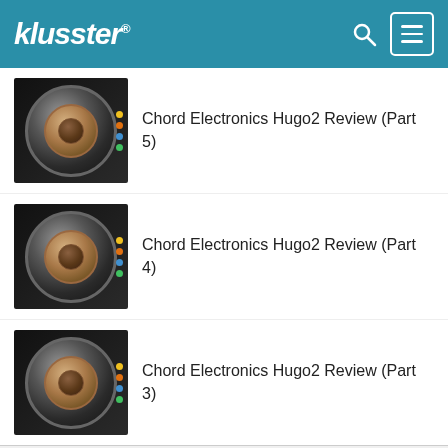klusster®
Chord Electronics Hugo2 Review (Part 5)
Chord Electronics Hugo2 Review (Part 4)
Chord Electronics Hugo2 Review (Part 3)
KLUSSTER MEMBER SPOTLIGHT
Show more
4.5 ☆☆☆☆☆